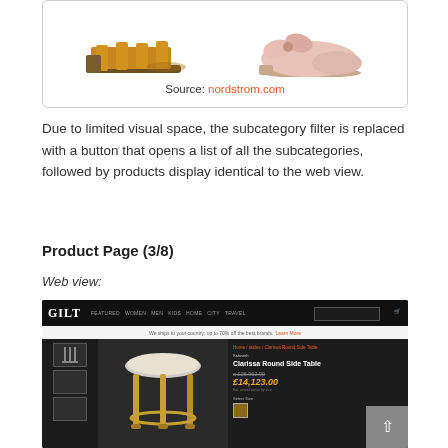[Figure (screenshot): Two shoes shown at top of a bordered box — a mustard/tan sandal on the left and a pink flat/ballet shoe on the right. Source: nordstrom.com]
Source: nordstrom.com
Due to limited visual space, the subcategory filter is replaced with a button that opens a list of all the subcategories, followed by products display identical to the web view.
Product Page (3/8)
Web view:
[Figure (screenshot): Screenshot of gilt.com product page showing a Clarissa Round Side Table. Navigation bar at top in black with GILT logo and nav items (Featured, Women, Men, Kids, Home, City, Travel). Product page shows thumbnails on left, main product image in center, and product details on right including name 'Clarissa Round Side Table', original price £26,962.90 struck through, and sale price £14,123.00 in orange/gold. A scroll-to-top button is visible in the bottom right corner.]